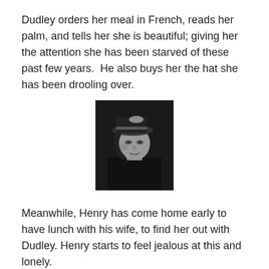Dudley orders her meal in French, reads her palm, and tells her she is beautiful; giving her the attention she has been starved of these past few years.  He also buys her the hat she has been drooling over.
[Figure (photo): Black and white photograph of a woman wearing a decorative hat with a brooch, looking to the side, seated in what appears to be a car or dark background.]
Meanwhile, Henry has come home early to have lunch with his wife, to find her out with Dudley. Henry starts to feel jealous at this and lonely.
While Dudley and Julia are out they run into the Professor.